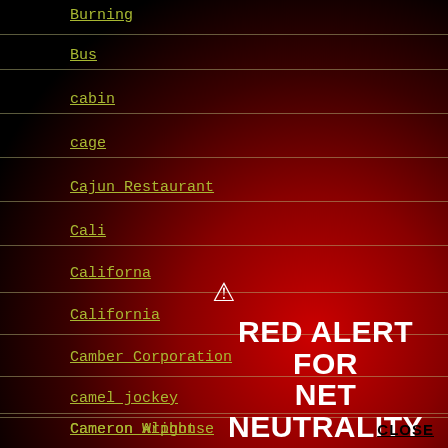Burning
Bus
cabin
cage
Cajun Restaurant
Cali
Californa
California
Camber Corporation
camel jockey
Cameron Alphonso
Cameron Wright
[Figure (infographic): Red Alert for Net Neutrality overlay with warning triangle icon, 'RED ALERT FOR NET NEUTRALITY' in bold white text, a black 'TAKE ACTION' button, and a 'CLOSE' link.]